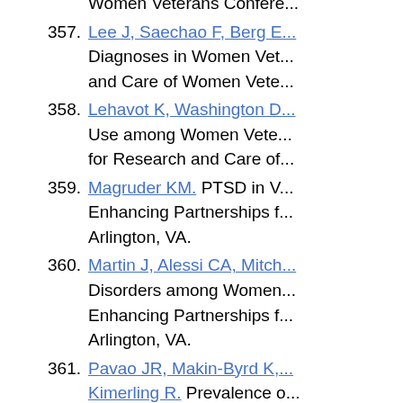Women Veterans Confere...
357. Lee J, Saechao F, Berg E... Diagnoses in Women Vet... and Care of Women Vete...
358. Lehavot K, Washington D... Use among Women Veter... for Research and Care of...
359. Magruder KM. PTSD in V... Enhancing Partnerships f... Arlington, VA.
360. Martin J, Alessi CA, Mitch... Disorders among Women... Enhancing Partnerships f... Arlington, VA.
361. Pavao JR, Makin-Byrd K,... Kimerling R. Prevalence o... Symptoms and Life Stres... Partnerships for Research...
362. Phibbs C, Hamilton AB, B... Distance and women Vet...